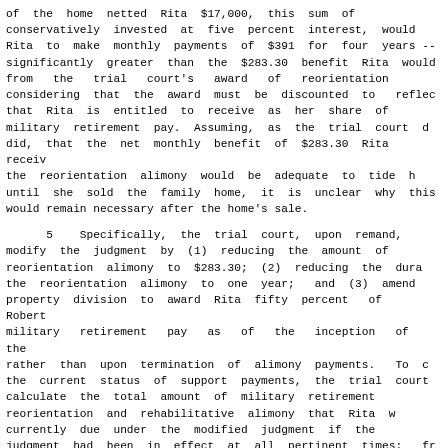of  the  home  netted  Rita  $17,000,  this  sum  of conservatively  invested  at  five  percent  interest,  would Rita  to  make  monthly  payments  of  $391  for  four  years -- significantly  greater  than  the  $283.30  benefit  Rita  would from   the   trial   court's   award   of   reorientation considering  that  the  award  must  be  discounted  to   reflect that  Rita  is  entitled  to  receive  as  her  share  of military  retirement  pay.   Assuming,  as  the  trial  court  did,  that  the  net  monthly  benefit  of  $283.30  Rita  received the  reorientation  alimony  would  be  adequate  to  tide  her until  she  sold  the  family  home,  it  is  unclear  why  this would remain necessary after the home's sale.
5    Specifically,  the  trial  court,  upon  remand, modify  the  judgment  by  (1)  reducing  the  amount  of reorientation  alimony  to  $283.30;  (2)  reducing  the  duration the  reorientation  alimony  to  one  year;   and  (3)  amend property  division  to  award  Rita  fifty  percent   of   Robert's military   retirement   pay   as   of   the   inception   of   the rather  than  upon  termination  of  alimony  payments.   To determine the  current  status  of  support  payments,  the  trial  court calculate  the  total  amount  of  military  retirement reorientation  and  rehabilitative  alimony  that  Rita  would currently  due  under  the  modified  judgment  if  the judgment  had  been  in  effect  at  all  pertinent  times;   from sum,  the  court  should  subtract  all  previous  payments  of support  actually  made  by  Robert  in  accordance  with  the court's prior spousal support orders.